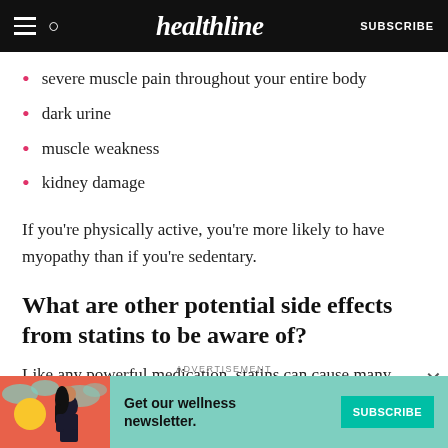healthline — SUBSCRIBE
severe muscle pain throughout your entire body
dark urine
muscle weakness
kidney damage
If you're physically active, you're more likely to have myopathy than if you're sedentary.
What are other potential side effects from statins to be aware of?
Like any powerful medication, statins can cause many
ADVERTISEMENT
[Figure (infographic): Advertisement banner for a wellness newsletter subscription with a teal background, illustration of a woman, text 'Get our wellness newsletter.' and a SUBSCRIBE button]